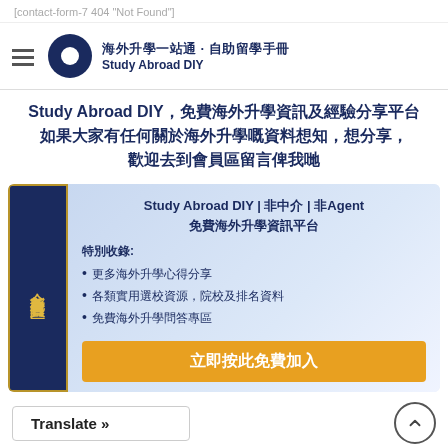[contact-form-7 404 "Not Found"]
海外升學一站通 · 自助留學手冊 Study Abroad DIY
Study Abroad DIY，免費海外升學資訊及經驗分享平台
如果大家有任何關於海外升學嘅資料想知，想分享，
歡迎去到會員區留言俾我哋
[Figure (infographic): Promotional banner for Study Abroad DIY membership area. Dark navy blue sidebar on the left with vertical Chinese text '全新免費會員區' in gold. Main content area with light blue gradient background showing: heading 'Study Abroad DIY | 非中介 | 非Agent 免費海外升學資訊平台', subheading '特別收錄:', bullet points listing '更多海外升學心得分享', '各類實用選校資源，院校及排名資料', '免費海外升學問答專區', and a gold/orange CTA button '立即按此免費加入']
Translate »